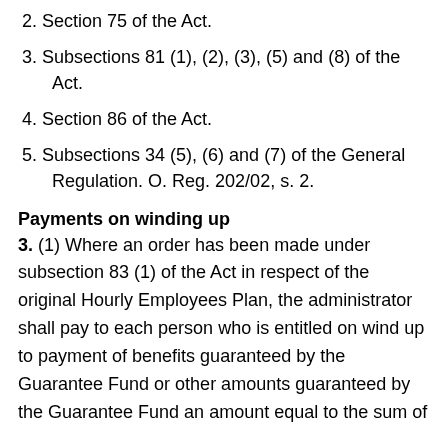2. Section 75 of the Act.
3. Subsections 81 (1), (2), (3), (5) and (8) of the Act.
4. Section 86 of the Act.
5. Subsections 34 (5), (6) and (7) of the General Regulation. O. Reg. 202/02, s. 2.
Payments on winding up
3. (1) Where an order has been made under subsection 83 (1) of the Act in respect of the original Hourly Employees Plan, the administrator shall pay to each person who is entitled on wind up to payment of benefits guaranteed by the Guarantee Fund or other amounts guaranteed by the Guarantee Fund an amount equal to the sum of